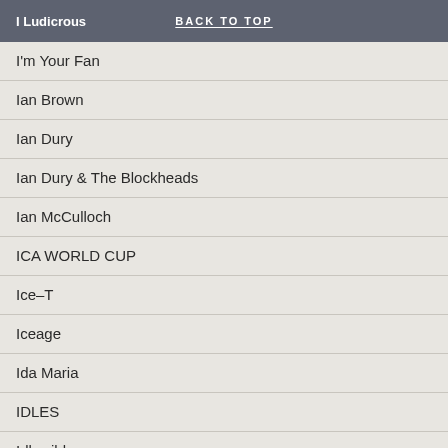I Ludicrous | BACK TO TOP
I'm Your Fan
Ian Brown
Ian Dury
Ian Dury & The Blockheads
Ian McCulloch
ICA WORLD CUP
Ice-T
Iceage
Ida Maria
IDLES
Idlewild
Iggy Pop